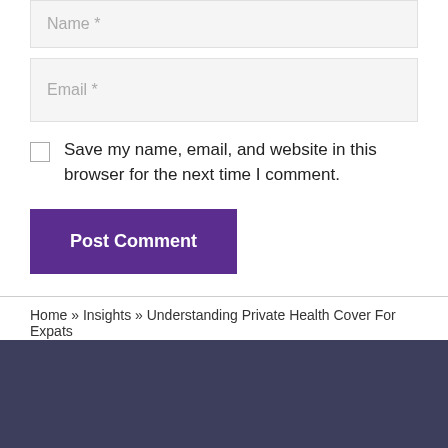Name *
Email *
Save my name, email, and website in this browser for the next time I comment.
Post Comment
Home » Insights » Understanding Private Health Cover For Expats
[Figure (other): Dark navy/purple footer background with social media icons partially visible at bottom]